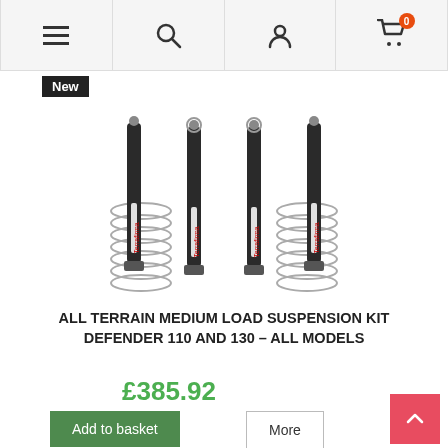[Figure (screenshot): Website navigation bar with hamburger menu, search icon, user account icon, and shopping cart icon with badge showing 0]
New
[Figure (photo): Product photo of four shock absorbers with Terrafirma branding and coil springs, arranged as a set of four]
ALL TERRAIN MEDIUM LOAD SUSPENSION KIT DEFENDER 110 AND 130 – ALL MODELS
£385.92
Add to basket
More